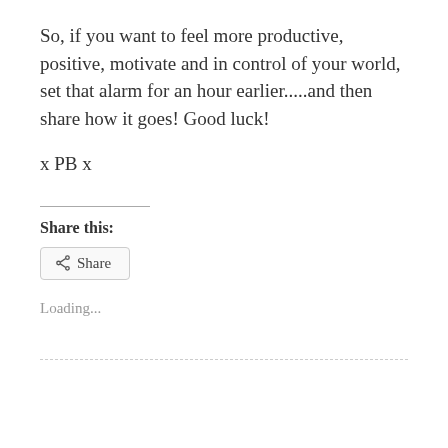So, if you want to feel more productive, positive, motivate and in control of your world, set that alarm for an hour earlier.....and then share how it goes! Good luck!
x PB x
Share this:
[Figure (other): Share button with share icon and text 'Share']
Loading...